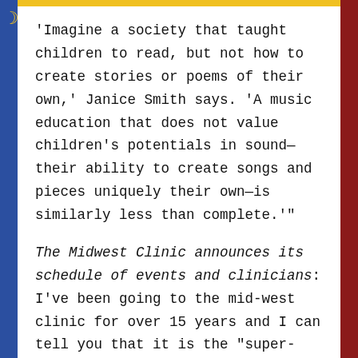'Imagine a society that taught children to read, but not how to create stories or poems of their own,' Janice Smith says. 'A music education that does not value children's potentials in sound— their ability to create songs and pieces uniquely their own—is similarly less than complete.'
The Midwest Clinic announces its schedule of events and clinicians: I've been going to the mid-west clinic for over 15 years and I can tell you that it is the "super-bowl" of all music conferences. This year, for the first